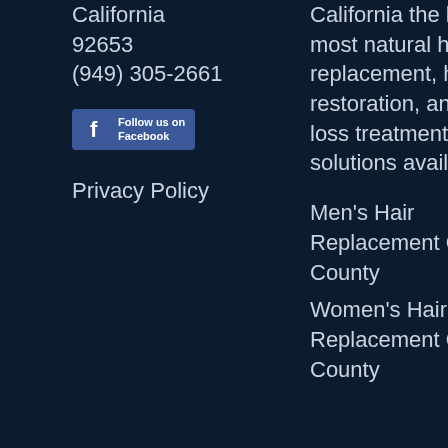California
92653
(949) 305-2661
[Figure (logo): Facebook Follow us on Facebook button]
Privacy Policy
California the latest, most natural hair replacement, hair restoration, and hair loss treatment solutions available.
Men's Hair Replacement Orange County
Women's Hair Replacement Orange County